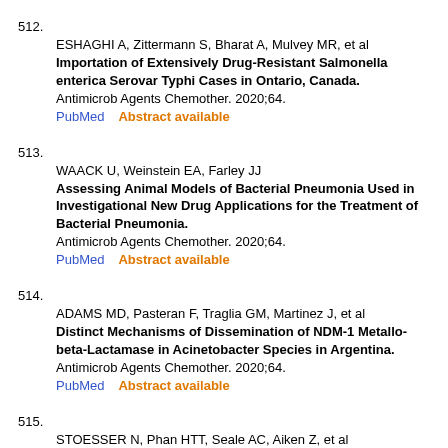512. ESHAGHI A, Zittermann S, Bharat A, Mulvey MR, et al
Importation of Extensively Drug-Resistant Salmonella enterica Serovar Typhi Cases in Ontario, Canada.
Antimicrob Agents Chemother. 2020;64.
PubMed    Abstract available
513. WAACK U, Weinstein EA, Farley JJ
Assessing Animal Models of Bacterial Pneumonia Used in Investigational New Drug Applications for the Treatment of Bacterial Pneumonia.
Antimicrob Agents Chemother. 2020;64.
PubMed    Abstract available
514. ADAMS MD, Pasteran F, Traglia GM, Martinez J, et al
Distinct Mechanisms of Dissemination of NDM-1 Metallo-beta-Lactamase in Acinetobacter Species in Argentina.
Antimicrob Agents Chemother. 2020;64.
PubMed    Abstract available
515. STOESSER N, Phan HTT, Seale AC, Aiken Z, et al
Genomic Epidemiology of Complex, Multispecies, Plasmid-Borne bla KPC Carbapenemase in Enterobacterales in the United Kingdom from 2009 to 2014.
Antimicrob Agents Chemother. 2020;64.
PubMed    Abstract available